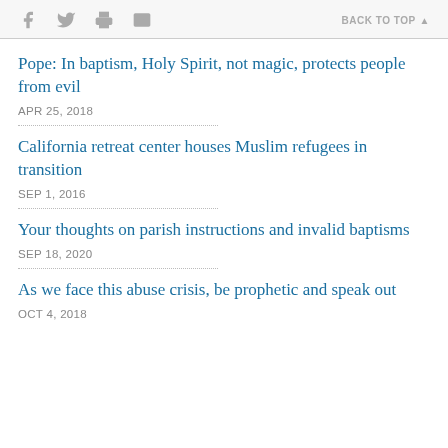BACK TO TOP
Pope: In baptism, Holy Spirit, not magic, protects people from evil
APR 25, 2018
California retreat center houses Muslim refugees in transition
SEP 1, 2016
Your thoughts on parish instructions and invalid baptisms
SEP 18, 2020
As we face this abuse crisis, be prophetic and speak out
OCT 4, 2018